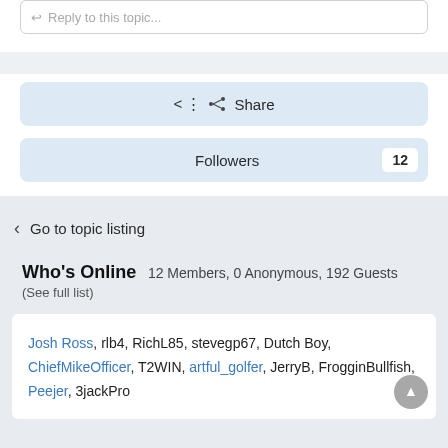Reply to this topic...
Share
Followers  12
< Go to topic listing
Who's Online  12 Members, 0 Anonymous, 192 Guests (See full list)
Josh Ross, rlb4, RichL85, stevegp67, Dutch Boy, ChiefMikeOfficer, T2WIN, artful_golfer, JerryB, FrogginBullfish, Peejer, 3jackPro